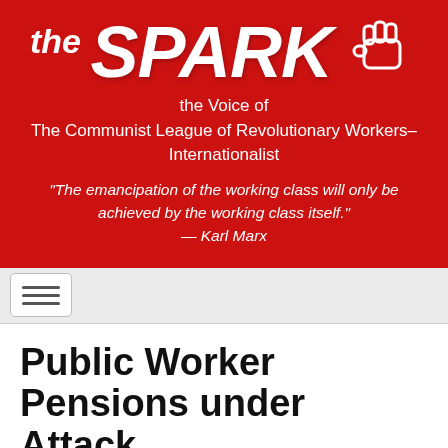[Figure (logo): The Spark masthead logo on red background with raised fist icon. Title reads 'THE SPARK'. Subtitle: 'the Voice of The Communist League of Revolutionary Workers–Internationalist'. Quote: '"The emancipation of the working class will only be achieved by the working class itself." — Karl Marx']
[Figure (other): Navigation bar with hamburger menu icon]
Public Worker Pensions under Attack
May 2, 2011